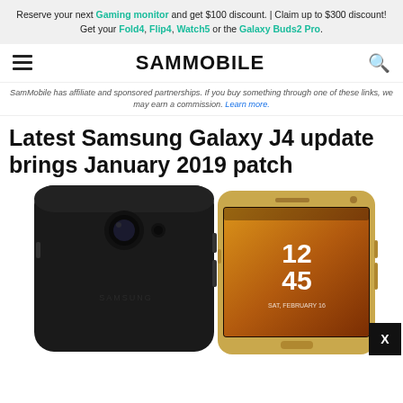Reserve your next Gaming monitor and get $100 discount. | Claim up to $300 discount! Get your Fold4, Flip4, Watch5 or the Galaxy Buds2 Pro.
SAMMOBILE
SamMobile has affiliate and sponsored partnerships. If you buy something through one of these links, we may earn a commission. Learn more.
Latest Samsung Galaxy J4 update brings January 2019 patch
[Figure (photo): Two Samsung Galaxy J4 smartphones — one black (back view) and one gold (front view showing 12:45 on screen)]